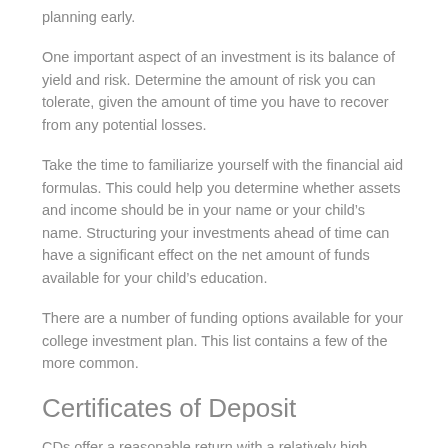planning early.
One important aspect of an investment is its balance of yield and risk. Determine the amount of risk you can tolerate, given the amount of time you have to recover from any potential losses.
Take the time to familiarize yourself with the financial aid formulas. This could help you determine whether assets and income should be in your name or your child’s name. Structuring your investments ahead of time can have a significant effect on the net amount of funds available for your child’s education.
There are a number of funding options available for your college investment plan. This list contains a few of the more common.
Certificates of Deposit
CDs offer a reasonable return with a relatively high